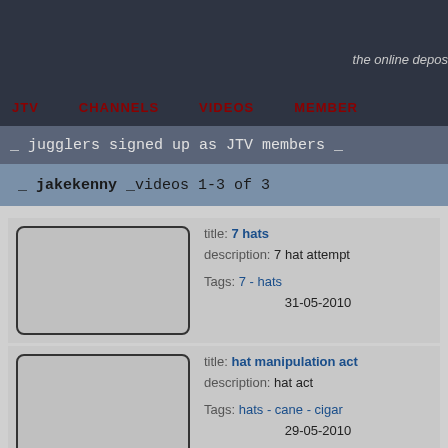the online depos
JTV   CHANNELS   VIDEOS   MEMBER
_ jugglers signed up as JTV members _
_ jakekenny _videos 1-3 of 3
[Figure (other): Video thumbnail placeholder (grey rectangle with dark border, rounded corners)]
title: 7 hats
description: 7 hat attempt
Tags: 7 - hats
31-05-2010
[Figure (other): Video thumbnail placeholder (grey rectangle with dark border, rounded corners)]
title: hat manipulation act
description: hat act
Tags: hats - cane - cigar
29-05-2010